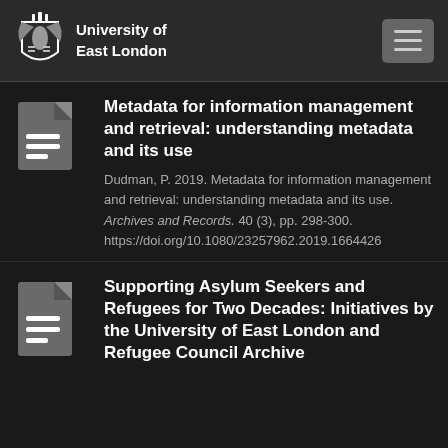University of East London
Metadata for information management and retrieval: understanding metadata and its use
Dudman, P. 2019. Metadata for information management and retrieval: understanding metadata and its use. Archives and Records. 40 (3), pp. 298-300. https://doi.org/10.1080/23257962.2019.1664426
Supporting Asylum Seekers and Refugees for Two Decades: Initiatives by the University of East London and Refugee Council Archive